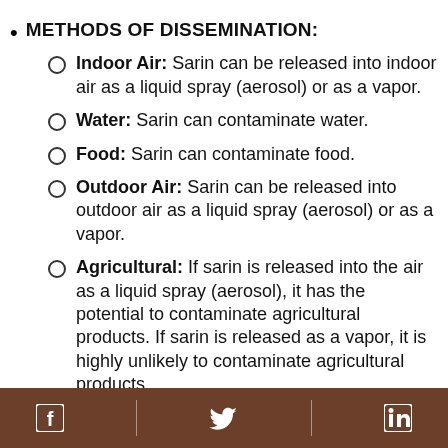METHODS OF DISSEMINATION:
Indoor Air: Sarin can be released into indoor air as a liquid spray (aerosol) or as a vapor.
Water: Sarin can contaminate water.
Food: Sarin can contaminate food.
Outdoor Air: Sarin can be released into outdoor air as a liquid spray (aerosol) or as a vapor.
Agricultural: If sarin is released into the air as a liquid spray (aerosol), it has the potential to contaminate agricultural products. If sarin is released as a vapor, it is highly unlikely to contaminate agricultural products.
Facebook | Twitter | LinkedIn